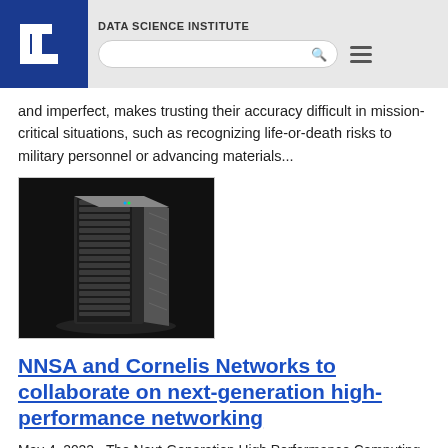DATA SCIENCE INSTITUTE
and imperfect, makes trusting their accuracy difficult in mission-critical situations, such as recognizing life-or-death risks to military personnel or advancing materials...
[Figure (photo): A tall server rack / high-performance computing blade server unit on a dark background]
NNSA and Cornelis Networks to collaborate on next-generation high-performance networking
May 4, 2022 - The Next-Generation High Performance Computing Network (NG-HPCN) project for the NNSA's Advanced Simulation and Computing (ASC) program will enable NNSA to co-design and partner with Cornelis on